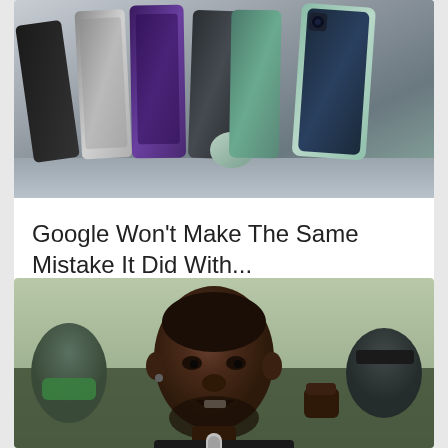[Figure (photo): Multiple Google Pixel smartphones lined up on a shelf, various colors including black, silver, purple, dark gray, teal, and sage green]
Google Won't Make The Same Mistake It Did With...
[Figure (photo): A Black man speaking passionately at a protest, raising his fist, with a microphone, surrounded by crowd in the background]